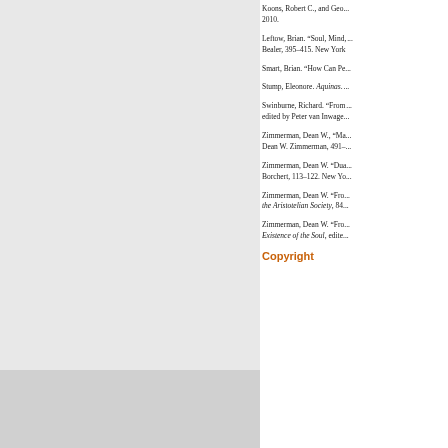Koons, Robert C., and Geo... 2010.
Leftow, Brian. “Soul, Mind, ... Bealer, 395–415. New York...
Smart, Brian. “How Can Pe...
Stump, Eleonore. Aquinas....
Swinburne, Richard. “From... edited by Peter van Inwage...
Zimmerman, Dean W., “Ma... Dean W. Zimmerman, 491–...
Zimmerman, Dean W. “Dua... Borchert, 113–122. New Yo...
Zimmerman, Dean W. “Fro... the Aristotelian Society, 84...
Zimmerman, Dean W. “Fro... Existence of the Soul, edite...
Copyright